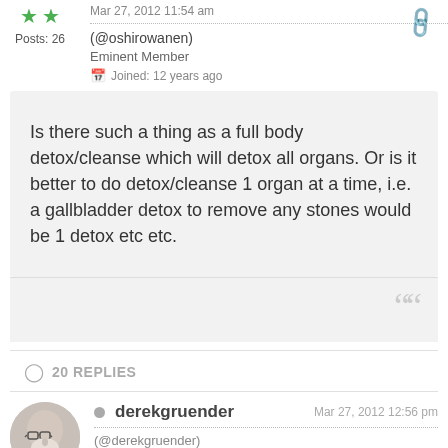Mar 27, 2012 11:54 am
(@oshirowanen)
Eminent Member
Joined: 12 years ago
Posts: 26
Is there such a thing as a full body detox/cleanse which will detox all organs. Or is it better to do detox/cleanse 1 organ at a time, i.e. a gallbladder detox to remove any stones would be 1 detox etc etc.
20 REPLIES
derekgruender
Mar 27, 2012 12:56 pm
(@derekgruender)